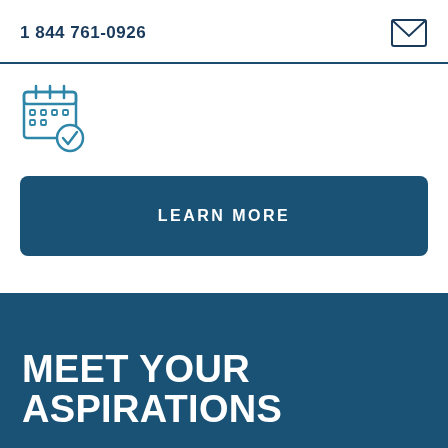1 844 761-0926
[Figure (illustration): Calendar icon with a checkmark, teal/blue outline style]
LEARN MORE
MEET YOUR ASPIRATIONS